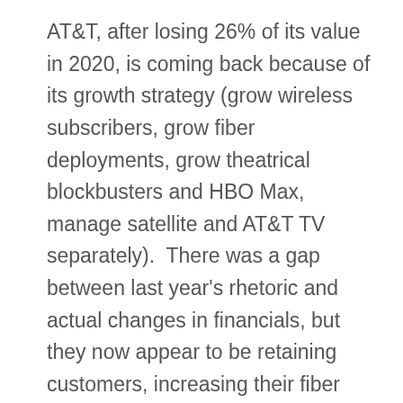AT&T, after losing 26% of its value in 2020, is coming back because of its growth strategy (grow wireless subscribers, grow fiber deployments, grow theatrical blockbusters and HBO Max, manage satellite and AT&T TV separately).  There was a gap between last year's rhetoric and actual changes in financials, but they now appear to be retaining customers, increasing their fiber presence, and debuting attractive content (Godzilla vs. Kong will cross $400 million in global box office receipts this week according to boxofficemojo.com).